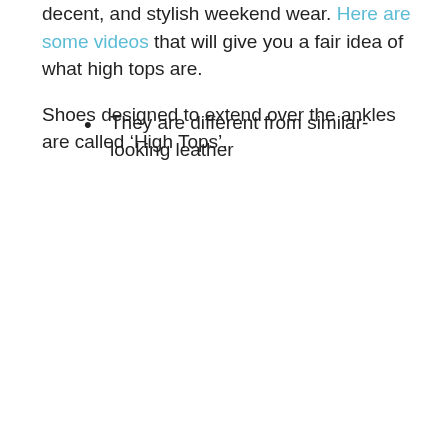decent, and stylish weekend wear. Here are some videos that will give you a fair idea of what high tops are.
Shoes designed to extend over the ankles are called ‘High Tops’.
They are different from similar-looking leather